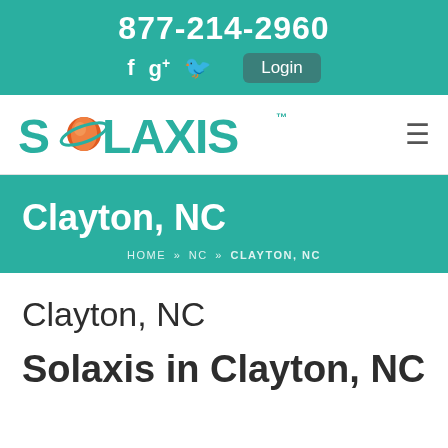877-214-2960
[Figure (screenshot): Social media icons (Facebook, Google+, Twitter) and Login button in teal header bar]
[Figure (logo): Solaxis logo with planet orbit graphic in teal color, trademark symbol]
Clayton, NC
HOME » NC » CLAYTON, NC
Clayton, NC
Solaxis in Clayton, NC